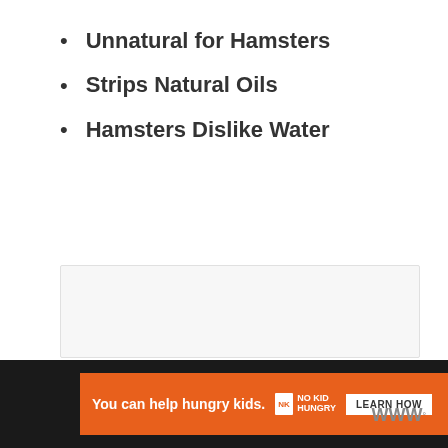Unnatural for Hamsters
Strips Natural Oils
Hamsters Dislike Water
[Figure (other): Empty light gray content box placeholder]
[Figure (other): Advertisement bar: orange banner reading 'You can help hungry kids.' with No Kid Hungry logo and 'LEARN HOW' button, on dark background with WW logo]